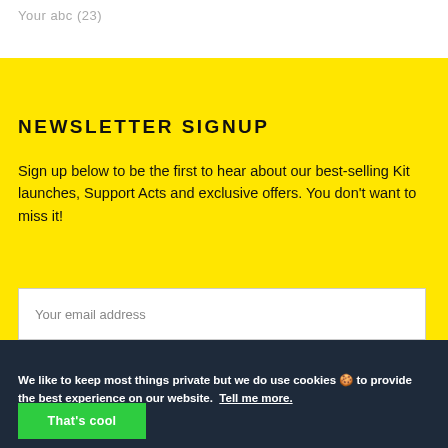Your abc (23)
NEWSLETTER SIGNUP
Sign up below to be the first to hear about our best-selling Kit launches, Support Acts and exclusive offers. You don't want to miss it!
Your email address
We like to keep most things private but we do use cookies 🍪 to provide the best experience on our website. Tell me more.
That's cool